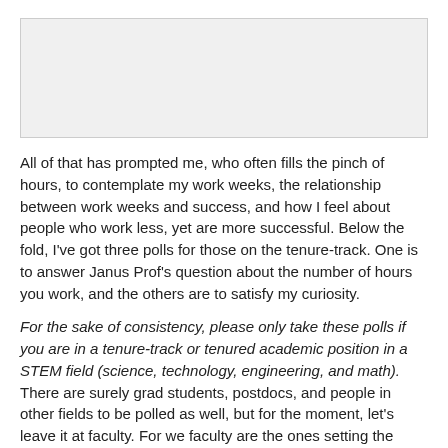[Figure (other): Gray placeholder image area at top of page]
All of that has prompted me, who often fills the pinch of hours, to contemplate my work weeks, the relationship between work weeks and success, and how I feel about people who work less, yet are more successful. Below the fold, I've got three polls for those on the tenure-track. One is to answer Janus Prof's question about the number of hours you work, and the others are to satisfy my curiosity.
For the sake of consistency, please only take these polls if you are in a tenure-track or tenured academic position in a STEM field (science, technology, engineering, and math). There are surely grad students, postdocs, and people in other fields to be polled as well, but for the moment, let's leave it at faculty. For we faculty are the ones setting the example for those on rungs below us.
For the next poll, define success as you will. You might think